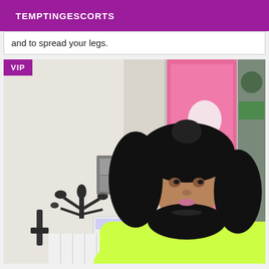TEMPTINGESCORTS
and to spread your legs.
[Figure (photo): A young woman with long curly black hair wearing a neon yellow-green top, sitting in a room with a white wall decorated with black tree/bird wall art and photos, a pink door, and a white radiator visible. A VIP badge is overlaid in the top-left corner.]